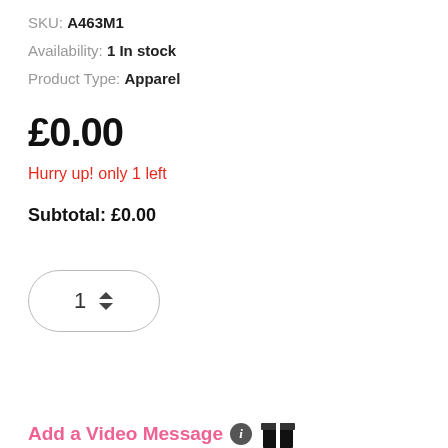SKU: A463M1
Availability: 1 In stock
Product Type: Apparel
£0.00
Hurry up! only 1 left
Subtotal: £0.00
[Figure (other): Quantity selector spinner showing value 1 with up/down arrows, rounded pill border]
[Figure (other): Add To Cart green pill button, pink heart circle button, grey share circle button]
Add a Video Message (i)